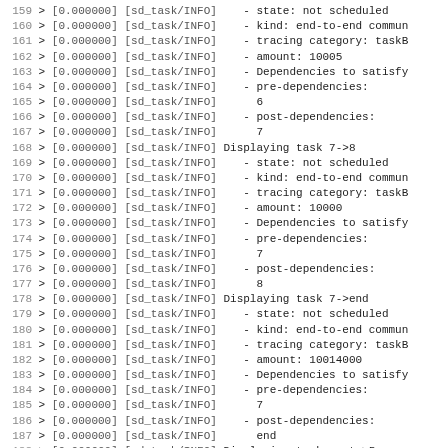Log output lines 159-190 showing sd_task/INFO messages with task display information including state, kind, tracing category, amount, dependencies, pre-dependencies, and post-dependencies for tasks 7->8, 7->end, and root->5.